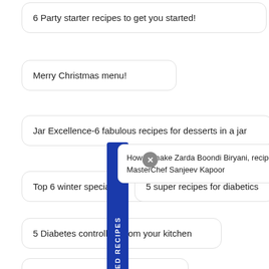6 Party starter recipes to get you started!
Merry Christmas menu!
Jar Excellence-6 fabulous recipes for desserts in a jar
Top 6 winter specialties
5 super recipes for diabetics
[Figure (infographic): Blue vertical banner with white rotated text reading FEATURED RECIPES]
How to make Zarda Boondi Biryani, recipe by MasterChef Sanjeev Kapoor
5 Diabetes controllers from your kitchen
Happy Children's Day
How to celebrate Guru Nanak Jayanti!